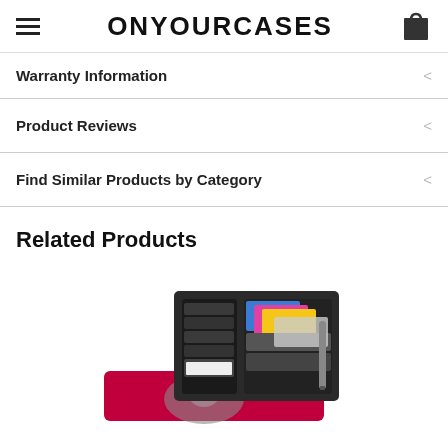ONYOURCASES
Warranty Information
Product Reviews
Find Similar Products by Category
Related Products
[Figure (photo): Open wallet product photo showing black and red wallet with card slots, ID window, and colorful cards inserted, displayed open on white background]